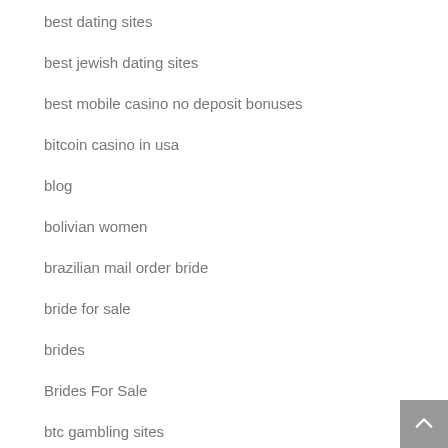best dating sites
best jewish dating sites
best mobile casino no deposit bonuses
bitcoin casino in usa
blog
bolivian women
brazilian mail order bride
bride for sale
brides
Brides For Sale
btc gambling sites
buy a bride
buy a wife
cambodian women
casinolan promo